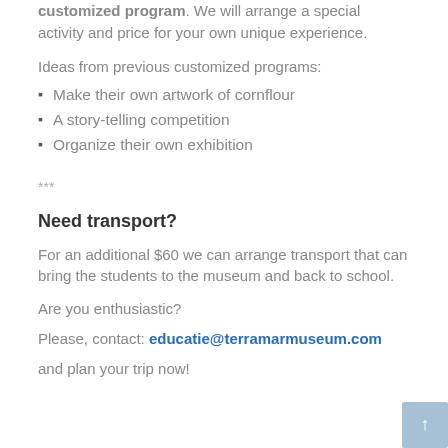customized program. We will arrange a special activity and price for your own unique experience.
Ideas from previous customized programs:
Make their own artwork of cornflour
A story-telling competition
Organize their own exhibition
***
Need transport?
For an additional $60 we can arrange transport that can bring the students to the museum and back to school.
Are you enthusiastic?
Please, contact: educatie@terramarmuseum.com
and plan your trip now!